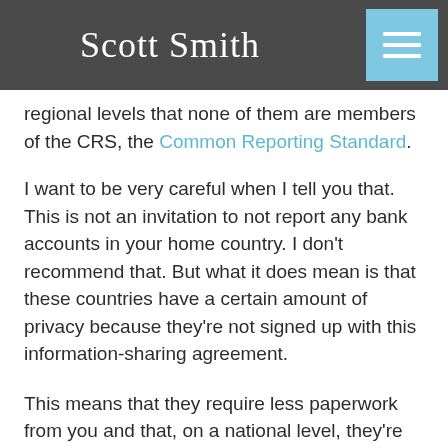Scott Smith
regional levels that none of them are members of the CRS, the Common Reporting Standard.
I want to be very careful when I tell you that. This is not an invitation to not report any bank accounts in your home country. I don't recommend that. But what it does mean is that these countries have a certain amount of privacy because they're not signed up with this information-sharing agreement.
This means that they require less paperwork from you and that, on a national level, they're